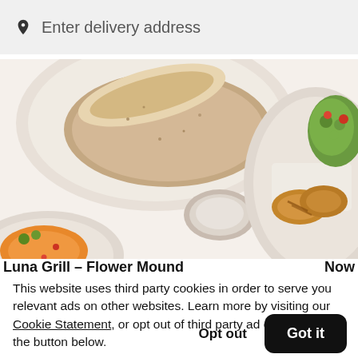Enter delivery address
[Figure (photo): Overhead photo of restaurant dishes including a wrap/burrito on a plate, a small bowl of dipping sauce, grilled chicken with shredded cheese and salad, and other Mediterranean-style food items on white background]
Luna Grill – Flower Mound   Now
This website uses third party cookies in order to serve you relevant ads on other websites. Learn more by visiting our Cookie Statement, or opt out of third party ad cookies using the button below.
Opt out
Got it